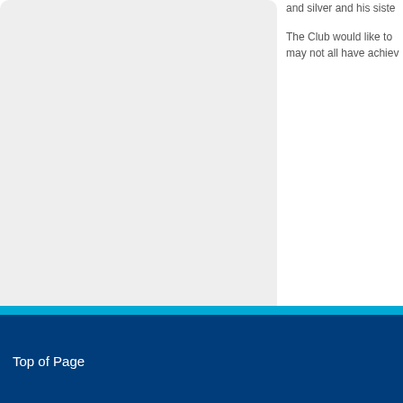[Figure (photo): A large light gray rounded rectangle placeholder image occupying the left portion of the page.]
and silver and his siste
The Club would like to may not all have achiev
Top of Page